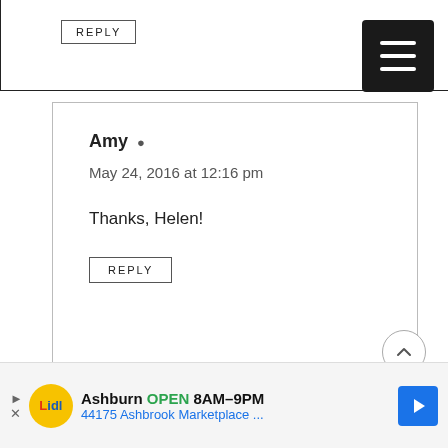REPLY
Amy
May 24, 2016 at 12:16 pm
Thanks, Helen!
REPLY
Mariana baltazar
August 5, 2019 at 12:36 pm
Ashburn OPEN 8AM–9PM 44175 Ashbrook Marketplace ...